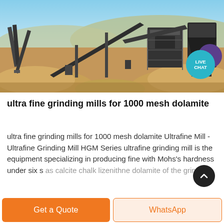[Figure (photo): Outdoor industrial mining/crushing plant facility with conveyor belts, crushers and mounds of sandy/rocky material under a blue sky with hills in background. A teal 'LIVE CHAT' circular badge is overlaid on the right side and a purple circle is partially visible behind it.]
ultra fine grinding mills for 1000 mesh dolamite
ultra fine grinding mills for 1000 mesh dolamite Ultrafine Mill - Ultrafine Grinding Mill HGM Series ultrafine grinding mill is the equipment specializing in producing fine with Mohs's hardness under six s as calcite chalk lizenithne dolamite of the grinding
Get a Quote
WhatsApp